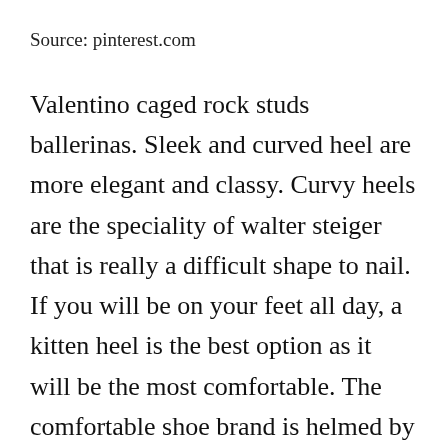Source: pinterest.com
Valentino caged rock studs ballerinas. Sleek and curved heel are more elegant and classy. Curvy heels are the speciality of walter steiger that is really a difficult shape to nail. If you will be on your feet all day, a kitten heel is the best option as it will be the most comfortable. The comfortable shoe brand is helmed by an orthopedic surgeon by the same name.